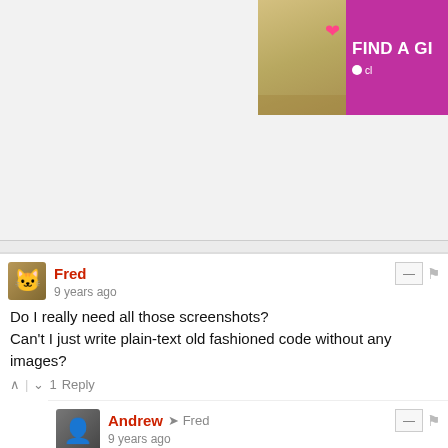[Figure (screenshot): Ad banner partially visible at top right showing a woman's photo and purple background with text 'FIND A GI...' and logo 'cl...']
^ | ∨  Reply
Sumit Bisht → m4tx
9 years ago
Sikuli is java at its core, what its IDE offers is just an intuitive way to create & customize its scripts.
^ | ∨  Reply
Fred
9 years ago
Do I really need all those screenshots?
Can't I just write plain-text old fashioned code without any images?
^ | ∨ 1  Reply
Andrew → Fred
9 years ago